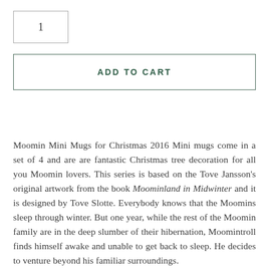1
ADD TO CART
Moomin Mini Mugs for Christmas 2016 Mini mugs come in a set of 4 and are are fantastic Christmas tree decoration for all you Moomin lovers. This series is based on the Tove Jansson’s original artwork from the book Moominland in Midwinter and it is designed by Tove Slotte. Everybody knows that the Moomins sleep through winter. But one year, while the rest of the Moomin family are in the deep slumber of their hibernation, Moomintroll finds himself awake and unable to get back to sleep. He decides to venture beyond his familiar surroundings.